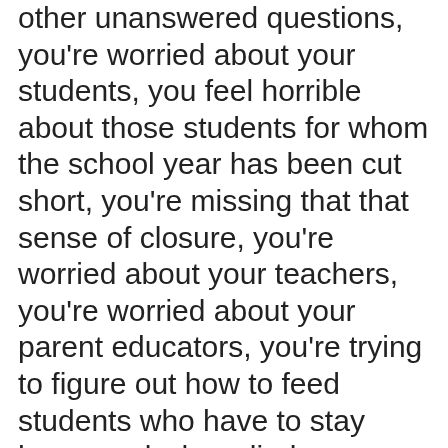other unanswered questions, you're worried about your students, you feel horrible about those students for whom the school year has been cut short, you're missing that that sense of closure, you're worried about your teachers, you're worried about your parent educators, you're trying to figure out how to feed students who have to stay home and who relied on school for meals, you're grappling with issues around equity, and figuring out how to give direction around grading so much.

I just want you to know, first of all, I